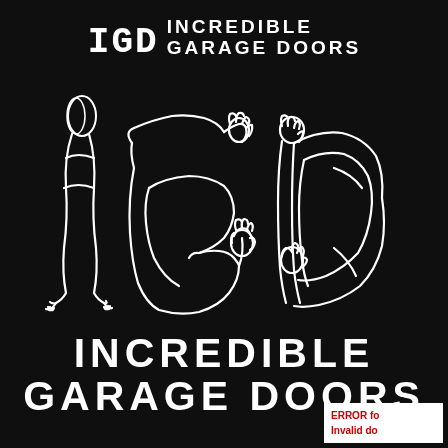[Figure (logo): IGD Incredible Garage Doors logo at top: stylized IGD letters with muscular figure font next to text INCREDIBLE GARAGE DOORS]
[Figure (illustration): Large IGD letters formed by human figures/bodies arranged in muscular poses on black background, white line art style]
INCREDIBLE GARAGE DOORS
ERROR for site owner: Invalid do